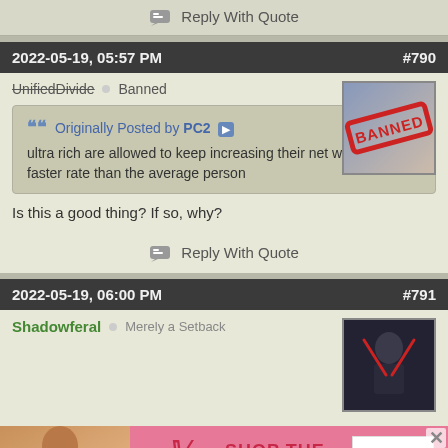Reply With Quote
2022-05-19, 05:57 PM  #790
UnifiedDivide  Banned
[Figure (photo): Avatar image with BANNED stamp overlay]
Originally Posted by PC2 — ultra rich are allowed to keep increasing their net worth at a faster rate than the average person
Is this a good thing? If so, why?
Reply With Quote
2022-05-19, 06:00 PM  #791
Shadowferal  Merely a Setback
[Figure (photo): Avatar image of dark-themed character with red lightsabers]
[Figure (photo): Victoria's Secret advertisement banner — SHOP THE COLLECTION / SHOP NOW]